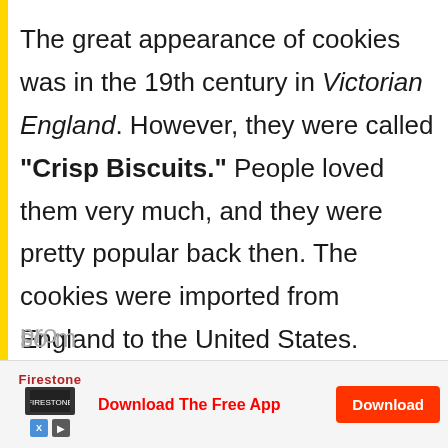The great appearance of cookies was in the 19th century in Victorian England. However, they were called "Crisp Biscuits." People loved them very much, and they were pretty popular back then. The cookies were imported from England to the United States.
Animal Crackers first appeared in the United States in the 19th century. It was a sweet cookie called "Animals". People loved them so much...
[Figure (infographic): Advertisement banner: Firestone - Download The Free App, with a red Download button and app store icons]